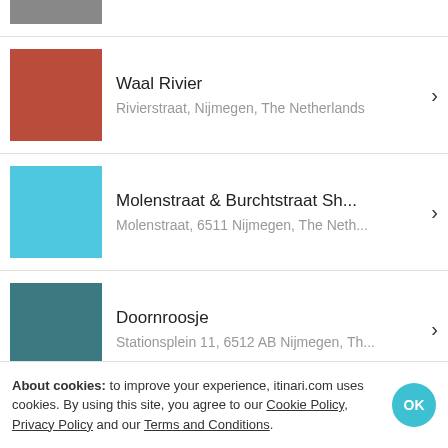[Figure (photo): Partial thumbnail image at top, gray/photo colored rectangle, cropped]
Waal Rivier
Rivierstraat, Nijmegen, The Netherlands
Molenstraat & Burchtstraat Sh...
Molenstraat, 6511 Nijmegen, The Neth...
Doornroosje
Stationsplein 11, 6512 AB Nijmegen, Th...
[Figure (other): Partial cyan/teal thumbnail at bottom, partially visible]
About cookies: to improve your experience, itinari.com uses cookies. By using this site, you agree to our Cookie Policy, Privacy Policy and our Terms and Conditions.